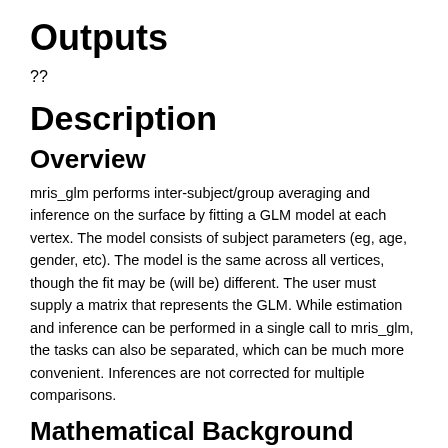Outputs
??
Description
Overview
mris_glm performs inter-subject/group averaging and inference on the surface by fitting a GLM model at each vertex. The model consists of subject parameters (eg, age, gender, etc). The model is the same across all vertices, though the fit may be (will be) different. The user must supply a matrix that represents the GLM. While estimation and inference can be performed in a single call to mris_glm, the tasks can also be separated, which can be much more convenient. Inferences are not corrected for multiple comparisons.
Mathematical Background